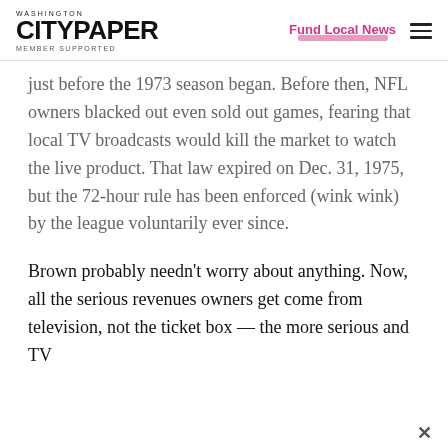WASHINGTON CITYPAPER MEMBER SUPPORTED | Fund Local News
just before the 1973 season began. Before then, NFL owners blacked out even sold out games, fearing that local TV broadcasts would kill the market to watch the live product. That law expired on Dec. 31, 1975, but the 72-hour rule has been enforced (wink wink) by the league voluntarily ever since.
Brown probably needn't worry about anything. Now, all the serious revenues owners get come from television, not the ticket box — the more serious and TV